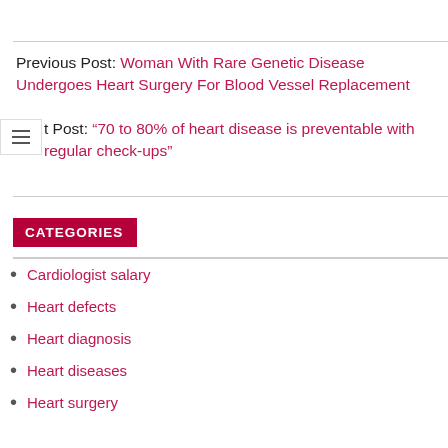Previous Post: Woman With Rare Genetic Disease Undergoes Heart Surgery For Blood Vessel Replacement
Next Post: “70 to 80% of heart disease is preventable with regular check-ups”
CATEGORIES
Cardiologist salary
Heart defects
Heart diagnosis
Heart diseases
Heart surgery